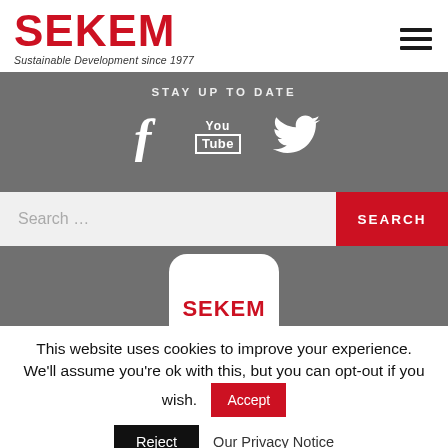[Figure (logo): SEKEM logo with red text and tagline 'Sustainable Development since 1977']
STAY UP TO DATE
[Figure (infographic): Social media icons: Facebook, YouTube, Twitter on grey background]
Search ...
SEARCH
[Figure (logo): SEKEM logo partially visible in white rounded box on grey background]
This website uses cookies to improve your experience. We'll assume you're ok with this, but you can opt-out if you wish.
Accept
Reject
Our Privacy Notice